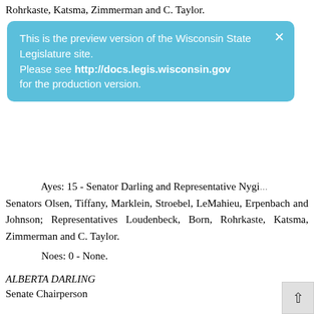Rohrkaste, Katsma, Zimmerman and C. Taylor.
[Figure (other): Preview tooltip overlay: 'This is the preview version of the Wisconsin State Legislature site. Please see http://docs.legis.wisconsin.gov for the production version.']
Ayes: 15 - Senator Darling and Representative Nygren;
Senators Olsen, Tiffany, Marklein, Stroebel, LeMahieu, Erpenbach and Johnson; Representatives Loudenbeck, Born, Rohrkaste, Katsma, Zimmerman and C. Taylor.
Noes: 0 - None.
ALBERTA DARLING
Senate Chairperson
Petitions and Communications
Pursuant to Senate Rule 17 (5), Representatives W